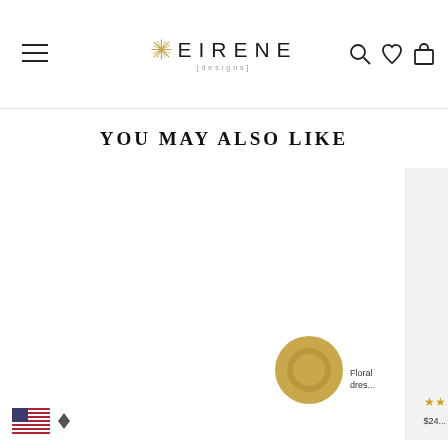EIRENE [designs] — navigation with hamburger menu, search, wishlist, and cart icons
YOU MAY ALSO LIKE
[Figure (screenshot): Product image area — partially visible product card on the right side, mostly blank white space]
[Figure (other): Gold circular chat bubble icon in bottom right area]
Floral dres...
★★
$24...
[Figure (other): US flag icon with sort/filter arrows at bottom left]